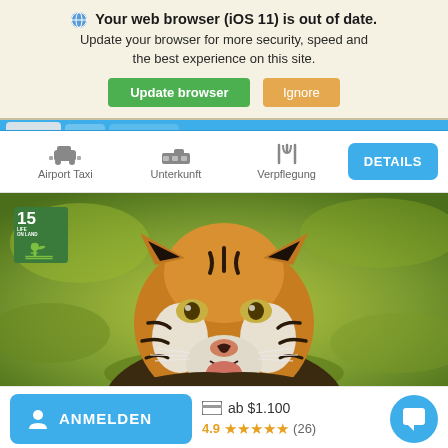Your web browser (iOS 11) is out of date. Update your browser for more security, speed and the best experience on this site. [Update browser] [Ignore]
[Figure (screenshot): Navigation bar with icons for Airport Taxi, Unterkunft, Verpflegung and a DETAILS button]
[Figure (photo): Close-up photograph of a tiger's face looking directly at the camera, with a green background. An SDG 15 Life on Land badge is overlaid in the top-left corner.]
ab $1.100
4.9 ★★★★★ (26)